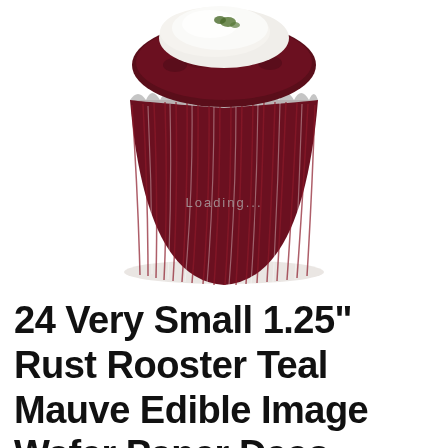[Figure (photo): Close-up photograph of a red velvet cupcake in a deep red/maroon fluted cupcake liner, with white cream cheese frosting partially visible on top with a small green garnish. The cupcake is photographed against a white background with a subtle shadow. A semi-transparent 'Loading...' text watermark appears over the image.]
24 Very Small 1.25" Rust Rooster Teal Mauve Edible Image Wafer Paper Deco Machine® Peacock